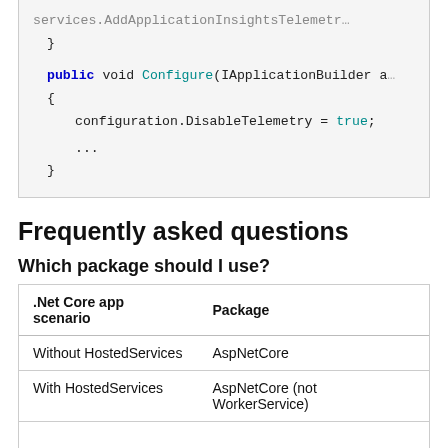[Figure (screenshot): Code block showing C# public void Configure method with configuration.DisableTelemetry = true and closing braces]
Frequently asked questions
Which package should I use?
| .Net Core app scenario | Package |
| --- | --- |
| Without HostedServices | AspNetCore |
| With HostedServices | AspNetCore (not WorkerService) |